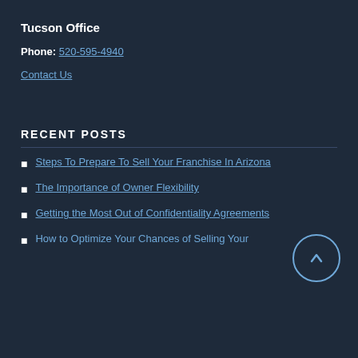Tucson Office
Phone: 520-595-4940
Contact Us
RECENT POSTS
Steps To Prepare To Sell Your Franchise In Arizona
The Importance of Owner Flexibility
Getting the Most Out of Confidentiality Agreements
How to Optimize Your Chances of Selling Your